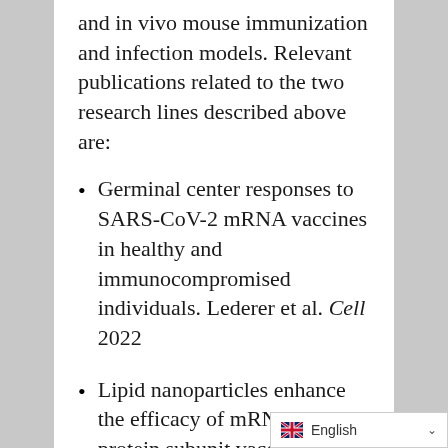and in vivo mouse immunization and infection models. Relevant publications related to the two research lines described above are:
Germinal center responses to SARS-CoV-2 mRNA vaccines in healthy and immunocompromised individuals. Lederer et al. Cell 2022
Lipid nanoparticles enhance the efficacy of mRNA and protein subunit vaccines by inducing robust T follicular helper cell and humoral responses. Alameh et al Immunity